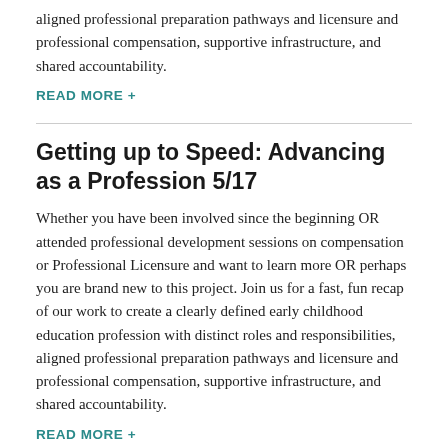aligned professional preparation pathways and licensure and professional compensation, supportive infrastructure, and shared accountability.
READ MORE +
Getting up to Speed: Advancing as a Profession 5/17
Whether you have been involved since the beginning OR attended professional development sessions on compensation or Professional Licensure and want to learn more OR perhaps you are brand new to this project. Join us for a fast, fun recap of our work to create a clearly defined early childhood education profession with distinct roles and responsibilities, aligned professional preparation pathways and licensure and professional compensation, supportive infrastructure, and shared accountability.
READ MORE +